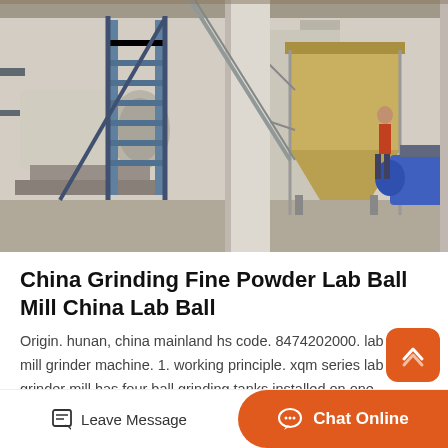[Figure (photo): Industrial factory interior showing a ball mill grinding machine with metal stairs/ladder, large yellow hopper/silo structure, and industrial equipment in a warehouse setting]
China Grinding Fine Powder Lab Ball Mill China Lab Ball
Origin. hunan, china mainland hs code. 8474202000. lab ball mill grinder machine. 1. working principle. xqm series lab grinder mill has four ball grinding tanks installed on one turnplate. when the…
Get Price >
[Figure (photo): Light blue sky with clouds partial view]
Leave Message   Chat Online